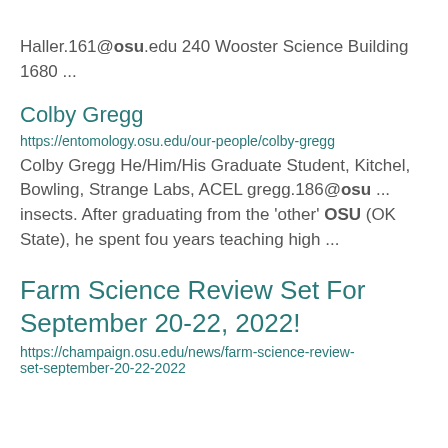Haller.161@osu.edu 240 Wooster Science Building 1680 ...
Colby Gregg
https://entomology.osu.edu/our-people/colby-gregg
Colby Gregg He/Him/His Graduate Student, Kitchel, Bowling, Strange Labs, ACEL gregg.186@osu ... insects. After graduating from the 'other' OSU (OK State), he spent fou years teaching high ...
Farm Science Review Set For September 20-22, 2022!
https://champaign.osu.edu/news/farm-science-review-set-september-20-22-2022